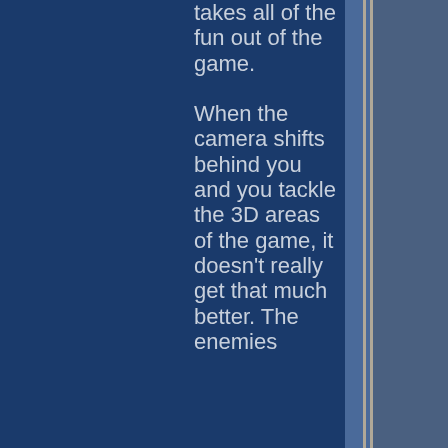takes all of the fun out of the game. When the camera shifts behind you and you tackle the 3D areas of the game, it doesn't really get that much better. The enemies